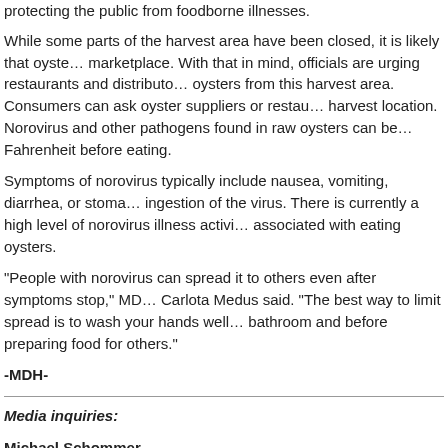protecting the public from foodborne illnesses.
While some parts of the harvest area have been closed, it is likely that oysters are still in the marketplace. With that in mind, officials are urging restaurants and distributors to check the source of oysters from this harvest area. Consumers can ask oyster suppliers or restaurants about the oyster harvest location. Norovirus and other pathogens found in raw oysters can be... Fahrenheit before eating.
Symptoms of norovirus typically include nausea, vomiting, diarrhea, or stomach cramping after ingestion of the virus. There is currently a high level of norovirus illness activity in Minnesota, associated with eating oysters.
“People with norovirus can spread it to others even after symptoms stop,” MD... Carlota Medus said. “The best way to limit spread is to wash your hands well... bathroom and before preparing food for others.”
-MDH-
Media inquiries:
Michael Schommer
MDH Communications
651-373-8271